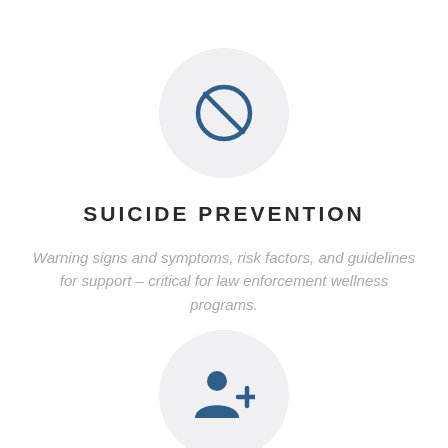[Figure (illustration): Circle icon with a prohibition/no symbol (circle with diagonal line) in dark blue, centered on a light gray circular background]
SUICIDE PREVENTION
Warning signs and symptoms, risk factors, and guidelines for support – critical for law enforcement wellness programs.
[Figure (illustration): Circle icon with a person-add/user-plus symbol in dark blue, centered on a light gray circular background, partially visible at bottom]